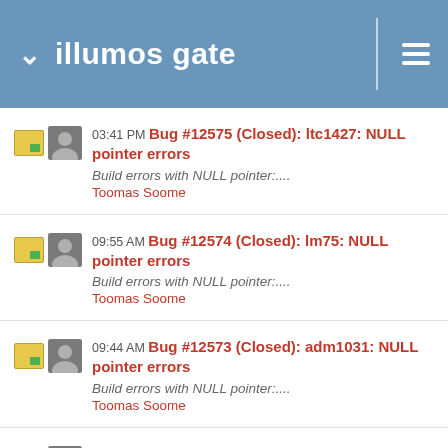illumos gate
03:41 PM Bug #12575 (Closed): ltc1427: NULL pointer errors
Build errors with NULL pointer:...
Toomas Soome
09:55 AM Bug #12574 (Closed): lm75: NULL pointer errors
Build errors with NULL pointer:...
Toomas Soome
09:44 AM Bug #12573 (Closed): adm1031: NULL pointer errors
Build errors with NULL pointer:...
Toomas Soome
09:36 AM Bug #12572 (Closed): pcipsy: NULL pointer errors
Build errors with NULL pointer:...
Toomas Soome